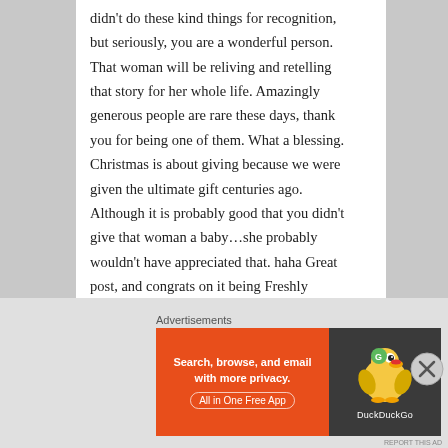didn't do these kind things for recognition, but seriously, you are a wonderful person. That woman will be reliving and retelling that story for her whole life. Amazingly generous people are rare these days, thank you for being one of them. What a blessing. Christmas is about giving because we were given the ultimate gift centuries ago. Although it is probably good that you didn't give that woman a baby…she probably wouldn't have appreciated that. haha Great post, and congrats on it being Freshly Pressed, you deserve it. 🙂 Merry Christmas!
Advertisements
[Figure (other): DuckDuckGo advertisement banner. Left side orange background with text 'Search, browse, and email with more privacy. All in One Free App'. Right side dark background with DuckDuckGo duck logo and 'DuckDuckGo' text.]